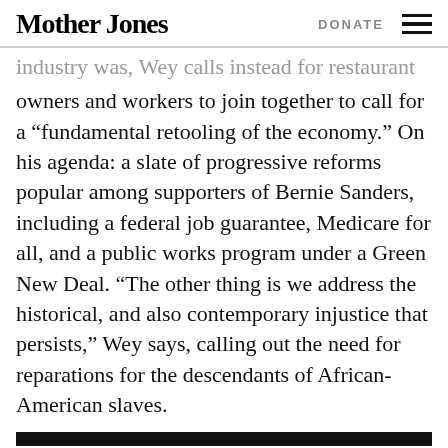Mother Jones   DONATE
industry was, Wey calls instead for restaurant owners and workers to join together to call for a “fundamental retooling of the economy.” On his agenda: a slate of progressive reforms popular among supporters of Bernie Sanders, including a federal job guarantee, Medicare for all, and a public works program under a Green New Deal. “The other thing is we address the historical, and also contemporary injustice that persists,” Wey says, calling out the need for reparations for the descendants of African-American slaves.
Alexander can even imagine new